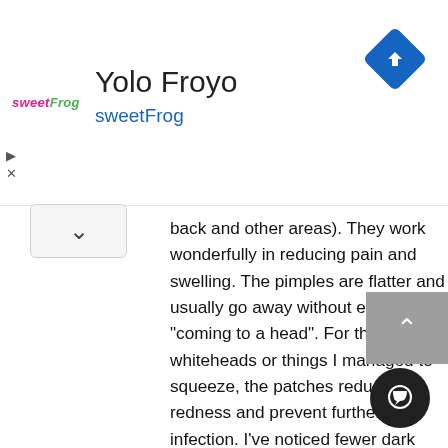[Figure (screenshot): Ad banner for Yolo Froyo sweetFrog with logo and navigation arrow icon in top right]
back and other areas). They work wonderfully in reducing pain and swelling. The pimples are flatter and usually go away without ever “coming to a head”. For the whiteheads or things I managed to squeeze, the patches reduce redness and prevent further infection. I’ve noticed fewer dark spots / post-inflammatory hyperpigmentation when using these. It could be partially due to the fact that less picking is happening. Whatever the reason, I’ll take it.
Let’s connect - find me on YouTube, Instagram, Pinterest, and join my